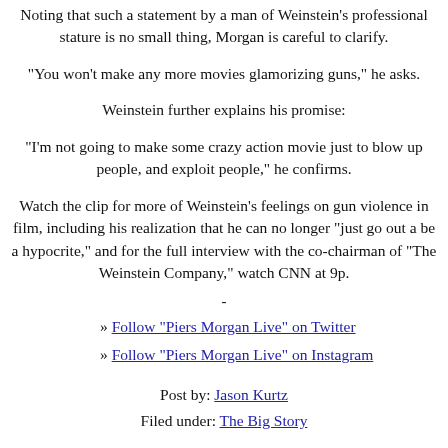Noting that such a statement by a man of Weinstein's professional stature is no small thing, Morgan is careful to clarify.
"You won't make any more movies glamorizing guns," he asks.
Weinstein further explains his promise:
"I'm not going to make some crazy action movie just to blow up people, and exploit people," he confirms.
Watch the clip for more of Weinstein's feelings on gun violence in film, including his realization that he can no longer "just go out a be a hypocrite," and for the full interview with the co-chairman of "The Weinstein Company," watch CNN at 9p.
-
» Follow "Piers Morgan Live" on Twitter
» Follow "Piers Morgan Live" on Instagram
Post by: Jason Kurtz
Filed under: The Big Story
soundoff (644 Responses)
1. Brian
This opinion is full of $0%$!. How can he no go out and...